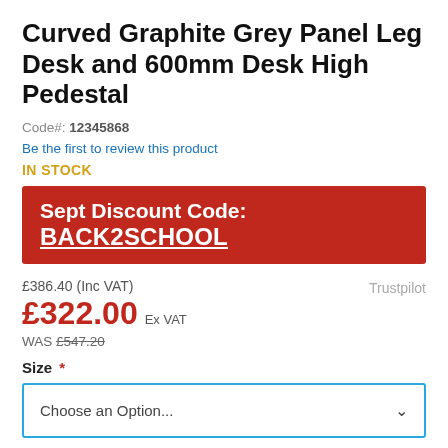Curved Graphite Grey Panel Leg Desk and 600mm Desk High Pedestal
Code#: 12345868
Be the first to review this product
IN STOCK
Sept Discount Code: BACK2SCHOOL
£386.40 (Inc VAT)
£322.00 Ex VAT
WAS £547.20
Trustpilot
Size *
Choose an Option...
- 1 +
ADD TO WISH LIST